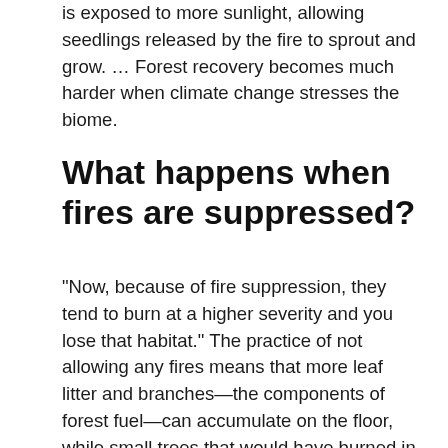is exposed to more sunlight, allowing seedlings released by the fire to sprout and grow. … Forest recovery becomes much harder when climate change stresses the biome.
What happens when fires are suppressed?
“Now, because of fire suppression, they tend to burn at a higher severity and you lose that habitat.” The practice of not allowing any fires means that more leaf litter and branches—the components of forest fuel—can accumulate on the floor, while small trees that would have burned in the past can grow large enough to …